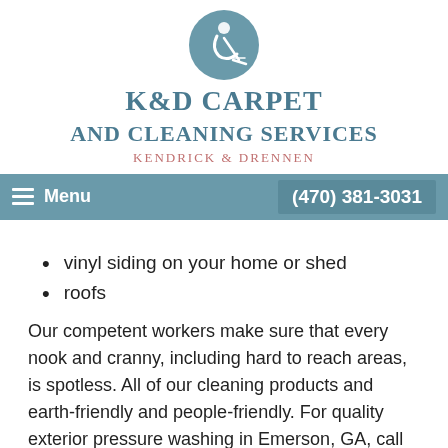[Figure (logo): K&D Carpet and Cleaning Services logo with circular icon showing a cleaning figure, company name in teal serif font, and 'KENDRICK & DRENNEN' subtitle in pink]
Menu   (470) 381-3031
vinyl siding on your home or shed
roofs
Our competent workers make sure that every nook and cranny, including hard to reach areas, is spotless. All of our cleaning products and earth-friendly and people-friendly. For quality exterior pressure washing in Emerson, GA, call (470) 381-3031. Ask about our discounts for seniors, multi areas, and seasonal pressure washing.